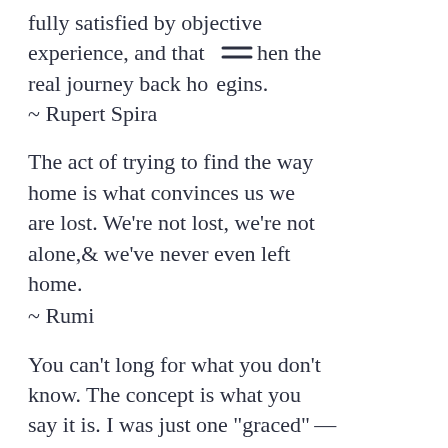fully satisfied by objective experience, and that is when the real journey back home begins. ~ Rupert Spira
The act of trying to find the way home is what convinces us we are lost. We're not lost, we're not alone,& we've never even left home. ~ Rumi
You can't long for what you don't know. The concept is what you say it is. I was just one "graced" — to use that term—with not knowing there was such thing as "awakening". I thought that suicide was the only way out—